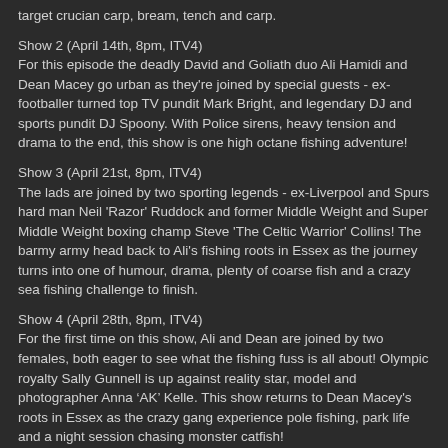target crucian carp, bream, tench and carp.
Show 2 (April 14th, 8pm, ITV4)
For this episode the deadly David and Goliath duo Ali Hamidi and Dean Macey go urban as they're joined by special guests - ex-footballer turned top TV pundit Mark Bright, and legendary DJ and sports pundit DJ Spoony. With Police sirens, heavy tension and drama to the end, this show is one high octane fishing adventure!
Show 3 (April 21st, 8pm, ITV4)
The lads are joined by two sporting legends - ex-Liverpool and Spurs hard man Neil 'Razor' Ruddock and former Middle Weight and Super Middle Weight boxing champ Steve 'The Celtic Warrior' Collins! The barmy army head back to Ali's fishing roots in Essex as the journey turns into one of humour, drama, plenty of coarse fish and a crazy sea fishing challenge to finish.
Show 4 (April 28th, 8pm, ITV4)
For the first time on this show, Ali and Dean are joined by two females, both eager to see what the fishing fuss is all about! Olympic royalty Sally Gunnell is up against reality star, model and photographer Anna ‘AK’ Kelle. This show returns to Dean Macey's roots in Essex as the crazy gang experience pole fishing, park life and a night session chasing monster catfish!
Show 5 (May 5th, 8pm, ITV4)
The season finale sees the show go in search of monster fish of many species in Thailand! Ali Hamidi and Dean Macey take fishing fanatics TOWIE'S Ricky Rayment and top boxer Mitchell Smith on a quite incredible journey in search of